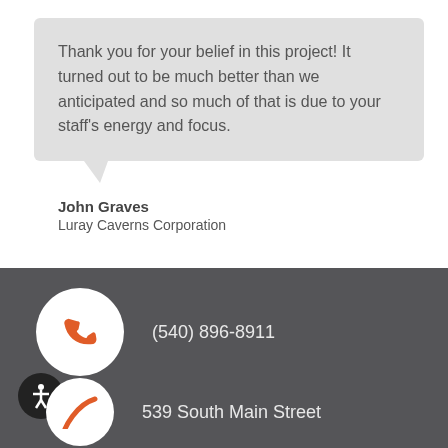Thank you for your belief in this project! It turned out to be much better than we anticipated and so much of that is due to your staff's energy and focus.
John Graves
Luray Caverns Corporation
(540) 896-8911
539 South Main Street